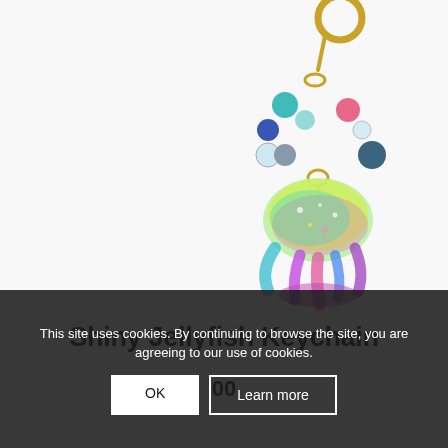[Figure (photo): A colorful shiny jellyfish keychain charm with iridescent resin pendant showing green, teal, pink, and purple colors, attached to a gold key ring with multiple small decorative beads in blue, teal, pink, and clear colors.]
This site uses cookies. By continuing to browse the site, you are agreeing to our use of cookies.
OK
Learn more
Shiny Jellyfish Keychain
00